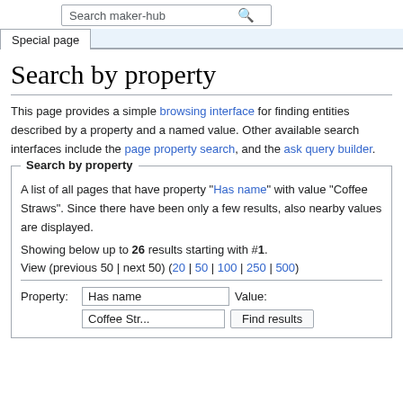Search maker-hub [search box]
Special page
Search by property
This page provides a simple browsing interface for finding entities described by a property and a named value. Other available search interfaces include the page property search, and the ask query builder.
Search by property
A list of all pages that have property "Has name" with value "Coffee Straws". Since there have been only a few results, also nearby values are displayed.
Showing below up to 26 results starting with #1.
View (previous 50 | next 50) (20 | 50 | 100 | 250 | 500)
Property: Has name   Value: